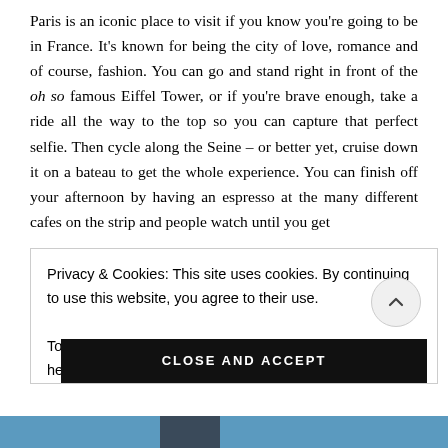Paris is an iconic place to visit if you know you're going to be in France. It's known for being the city of love, romance and of course, fashion. You can go and stand right in front of the oh so famous Eiffel Tower, or if you're brave enough, take a ride all the way to the top so you can capture that perfect selfie. Then cycle along the Seine – or better yet, cruise down it on a bateau to get the whole experience. You can finish off your afternoon by having an espresso at the many different cafes on the strip and people watch until you get
Privacy & Cookies: This site uses cookies. By continuing to use this website, you agree to their use.
To find out more, including how to control cookies, see here: Cookie Policy
CLOSE AND ACCEPT